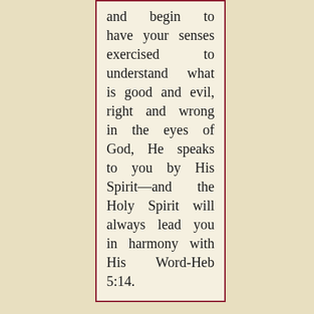and begin to have your senses exercised to understand what is good and evil, right and wrong in the eyes of God, He speaks to you by His Spirit—and the Holy Spirit will always lead you in harmony with His Word-Heb 5:14.